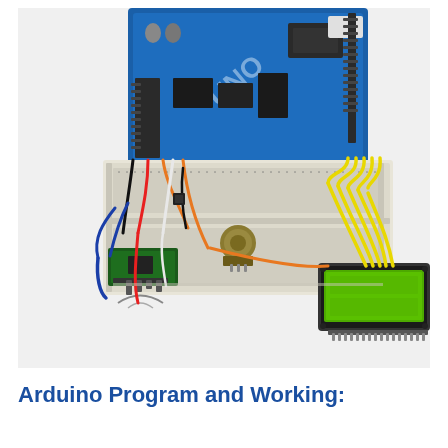[Figure (photo): Photo of an Arduino Uno microcontroller board connected to a breadboard with various components including an ESP8266 WiFi module, a potentiometer, and a 16x2 LCD display. Multiple colored jumper wires (yellow, orange, red, black, blue, white) connect the components together on the breadboard.]
Arduino Program and Working: